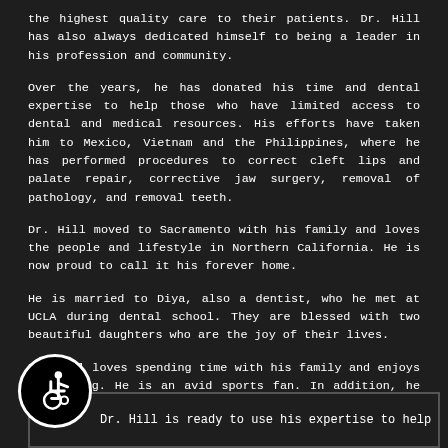the highest quality care to their patients. Dr. Hill has also always dedicated himself to being a leader in his profession and community.
Over the years, he has donated his time and dental expertise to help those who have limited access to dental and medical resources. His efforts have taken him to Mexico, Vietnam and the Philippines, where he has performed procedures to correct cleft lips and palate repair, corrective jaw surgery, removal of pathology, and removal teeth.
Dr. Hill moved to Sacramento with his family and loves the people and lifestyle in Northern California. He is now proud to call it his forever home.
He is married to Diya, also a dentist, who he met at UCLA during dental school. They are blessed with two beautiful daughters who are the joy of their lives.
Dr. Hill loves spending time with his family and enjoys travelling. He is an avid sports fan. In addition, he has recently completed his first marathon.
[Figure (illustration): Wheelchair accessibility icon — circular black badge with white wheelchair symbol]
Dr. Hill is ready to use his expertise to help